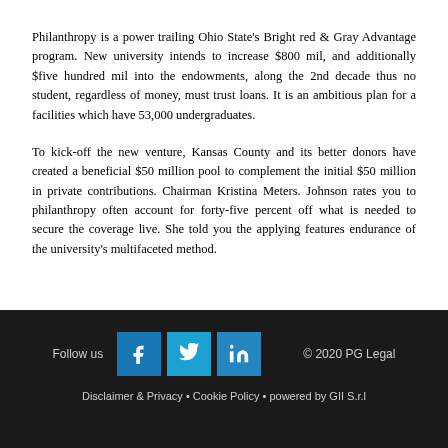Philanthropy is a power trailing Ohio State's Bright red & Gray Advantage program. New university intends to increase $800 mil, and additionally $five hundred mil into the endowments, along the 2nd decade thus no student, regardless of money, must trust loans. It is an ambitious plan for a facilities which have 53,000 undergraduates.
To kick-off the new venture, Kansas County and its better donors have created a beneficial $50 million pool to complement the initial $50 million in private contributions. Chairman Kristina Meters. Johnson rates you to philanthropy often account for forty-five percent off what is needed to secure the coverage live. She told you the applying features endurance of the university's multifaceted method.
Follow us  © 2020 PG Legal  Disclaimer & Privacy • Cookie Policy • powered by GII S.r.l